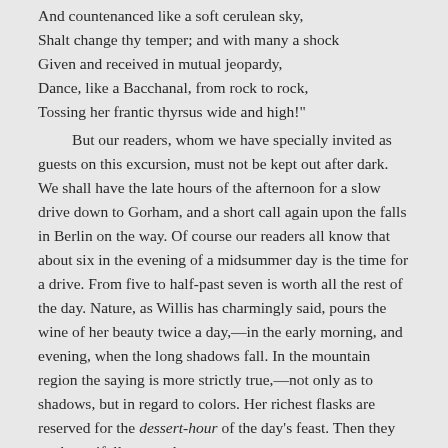And countenanced like a soft cerulean sky,
Shalt change thy temper; and with many a shock
Given and received in mutual jeopardy,
Dance, like a Bacchanal, from rock to rock,
Tossing her frantic thyrsus wide and high!"
	 But our readers, whom we have specially invited as guests on this excursion, must not be kept out after dark. We shall have the late hours of the afternoon for a slow drive down to Gorham, and a short call again upon the falls in Berlin on the way. Of course our readers all know that about six in the evening of a midsummer day is the time for a drive. From five to half-past seven is worth all the rest of the day. Nature, as Willis has charmingly said, pours the wine of her beauty twice a day,—in the early morning, and evening, when the long shadows fall. In the mountain region the saying is more strictly true,—not only as to shadows, but in regard to colors. Her richest flasks are reserved for the dessert-hour of the day's feast. Then they are bountifully poured.